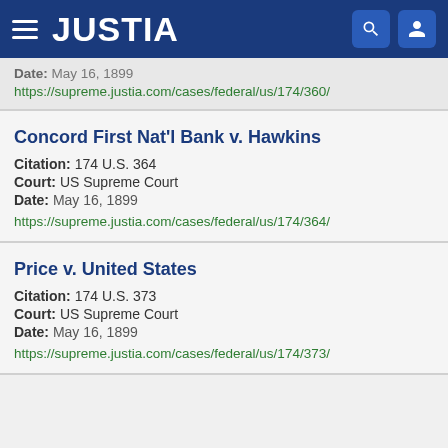JUSTIA
Date: May 16, 1899
https://supreme.justia.com/cases/federal/us/174/360/
Concord First Nat'l Bank v. Hawkins
Citation: 174 U.S. 364
Court: US Supreme Court
Date: May 16, 1899
https://supreme.justia.com/cases/federal/us/174/364/
Price v. United States
Citation: 174 U.S. 373
Court: US Supreme Court
Date: May 16, 1899
https://supreme.justia.com/cases/federal/us/174/373/